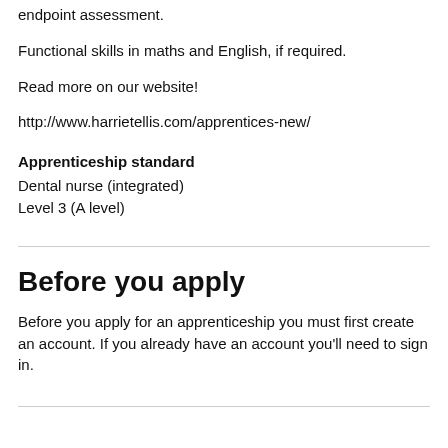endpoint assessment.
Functional skills in maths and English, if required.
Read more on our website!
http://www.harrietellis.com/apprentices-new/
Apprenticeship standard
Dental nurse (integrated)
Level 3 (A level)
Before you apply
Before you apply for an apprenticeship you must first create an account. If you already have an account you'll need to sign in.